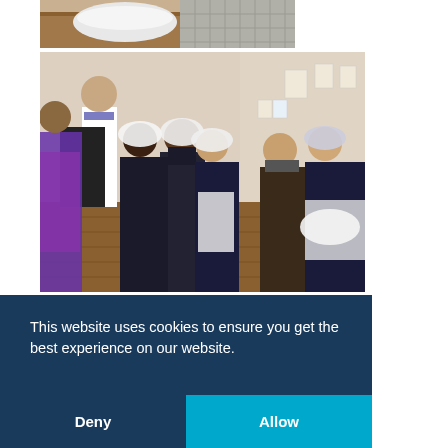[Figure (photo): Partial view of a table with white bowl, wooden surface, and tiled floor visible at top]
[Figure (photo): Children wearing aprons and hair nets in a classroom/kitchen setting, with an adult instructor in a white coat at a piano/podium on the left]
This website uses cookies to ensure you get the best experience on our website.
[Figure (photo): Partial bottom photo strip showing another scene with children]